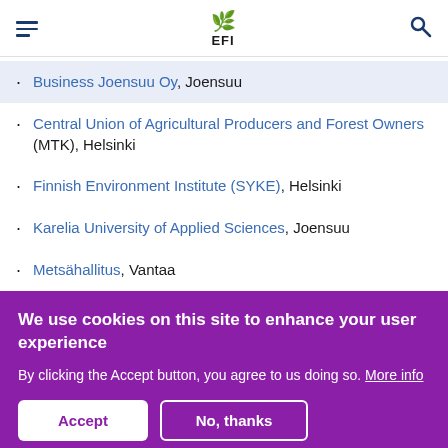EFI
Business Joensuu Oy, Joensuu
Central Union of Agricultural Producers and Forest Owners (MTK), Helsinki
Finnish Environment Institute (SYKE), Helsinki
Karelia University of Applied Sciences, Joensuu
Metsähallitus, Vantaa
We use cookies on this site to enhance your user experience
By clicking the Accept button, you agree to us doing so. More info
Accept   No, thanks